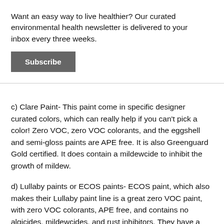Want an easy way to live healthier? Our curated environmental health newsletter is delivered to your inbox every three weeks.
Subscribe
c) Clare Paint- This paint come in specific designer curated colors, which can really help if you can't pick a color! Zero VOC, zero VOC colorants, and the eggshell and semi-gloss paints are APE free. It is also Greenguard Gold certified. It does contain a mildewcide to inhibit the growth of mildew.
d) Lullaby paints or ECOS paints- ECOS paint, which also makes their Lullaby paint line is a great zero VOC paint, with zero VOC colorants, APE free, and contains no algicides, mildewcides, and rust inhibitors. They have a color catalogue or you they can color match any national brand. They have both a Declare label and a Health Product Declaration in which